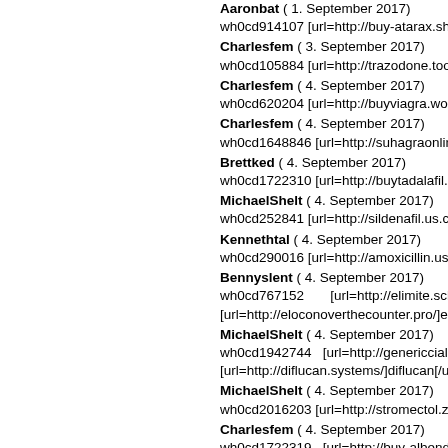Aaronbat ( 1. September 2017) wh0cd914107 [url=http://buy-atarax.shop/]
Charlesfem ( 3. September 2017) wh0cd105884 [url=http://trazodone.tools/]
Charlesfem ( 4. September 2017) wh0cd620204 [url=http://buyviagra.work/]
Charlesfem ( 4. September 2017) wh0cd1648846 [url=http://suhagraonline.p
Brettked ( 4. September 2017) wh0cd1722310 [url=http://buytadalafil.stor
MichaelShelt ( 4. September 2017) wh0cd252841 [url=http://sildenafil.us.com/
Kennethtal ( 4. September 2017) wh0cd290016 [url=http://amoxicillin.us.con
Bennyslent ( 4. September 2017) wh0cd767152 [url=http://elimite.schu [url=http://eloconoverthecounter.pro/]eloco
MichaelShelt ( 4. September 2017) wh0cd1942744 [url=http://genericcialis.di [url=http://diflucan.systems/]diflucan[/url]
MichaelShelt ( 4. September 2017) wh0cd2016203 [url=http://stromectol.zone.
Charlesfem ( 4. September 2017) wh0cd1722319 [url=http://buy-albendazo levaquin.shop/]generic levaquin[/url]
Aaronbat ( 4. September 2017)